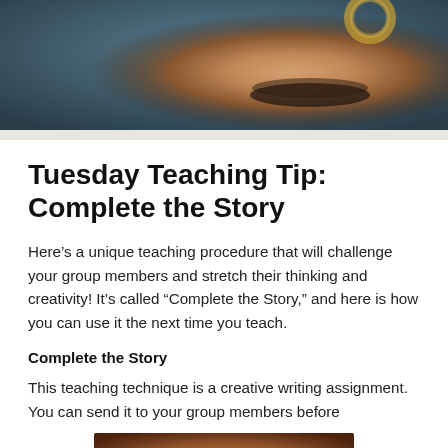[Figure (photo): A hand/wrist with beaded bracelet against a blurred dark background, photo cropped at top of page]
Tuesday Teaching Tip: Complete the Story
Here’s a unique teaching procedure that will challenge your group members and stretch their thinking and creativity! It’s called “Complete the Story,” and here is how you can use it the next time you teach.
Complete the Story
This teaching technique is a creative writing assignment. You can send it to your group members before
[Figure (photo): Partial photo at bottom of page, warm brown/orange tones, cropped]